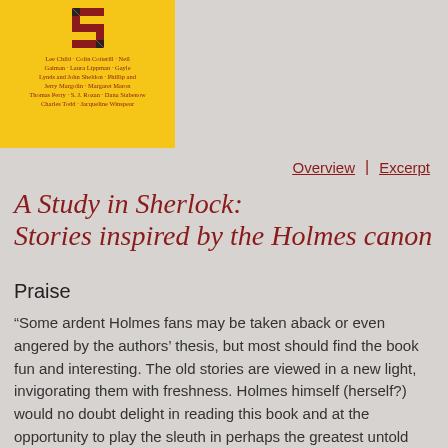[Figure (illustration): Book cover for 'A Study in Sherlock' with yellow background, decorative S letter, and list of authors in dark red text including Lee Child, Colin Cotterill, Neil Gaiman, Laura Lippman, Gayle Lynds and John Sheldon, Phillip and Jerry Margolin, Margaret Maron, Thomas Perry, S.J. Rozan, Dana Stabenow, Charles Todd, Jacqueline Winspear]
Overview | Excerpt
A Study in Sherlock: Stories inspired by the Holmes canon
Praise
“Some ardent Holmes fans may be taken aback or even angered by the authors’ thesis, but most should find the book fun and interesting. The old stories are viewed in a new light, invigorating them with freshness. Holmes himself (herself?) would no doubt delight in reading this book and at the opportunity to play the sleuth in perhaps the greatest untold detective mystery of them all.”